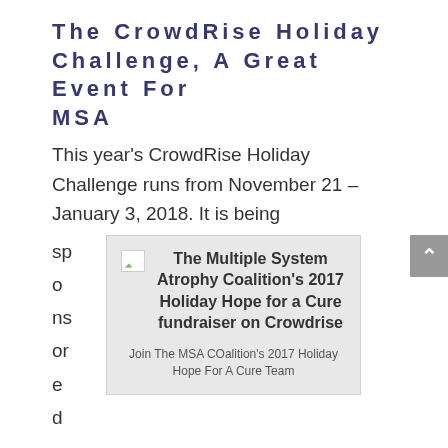The CrowdRise Holiday Challenge, A Great Event For MSA
This year's CrowdRise Holiday Challenge runs from November 21 – January 3, 2018. It is being sponsored by the Newman's Own Foundation and is offering $500,000 in prize money to the top charities. The winner of the 6-week challenge
[Figure (other): Embedded link card with broken image icon and text: The Multiple System Atrophy Coalition's 2017 Holiday Hope for a Cure fundraiser on Crowdrise. Subtitle: Join The MSA COalition's 2017 Holiday Hope For A Cure Team]